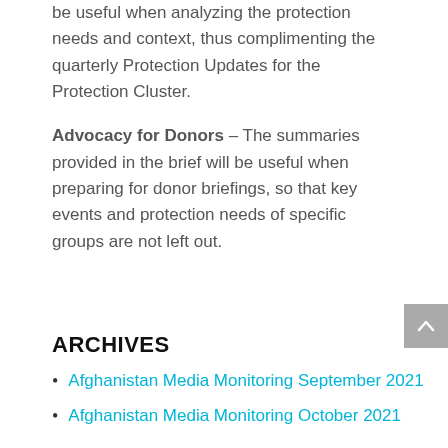be useful when analyzing the protection needs and context, thus complimenting the quarterly Protection Updates for the Protection Cluster.
Advocacy for Donors – The summaries provided in the brief will be useful when preparing for donor briefings, so that key events and protection needs of specific groups are not left out.
ARCHIVES
Afghanistan Media Monitoring September 2021
Afghanistan Media Monitoring October 2021